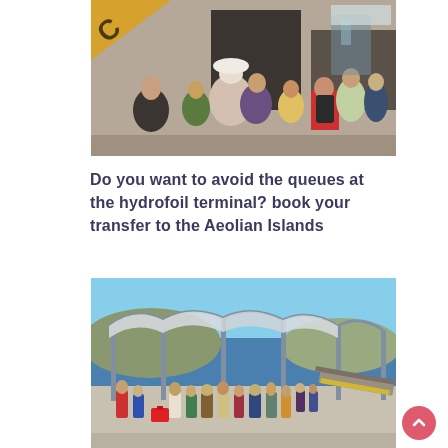[Figure (photo): Crowd of tourists queuing at a hydrofoil terminal entrance building, summer scene with people carrying bags and backpacks]
Do you want to avoid the queues at the hydrofoil terminal? book your transfer to the Aeolian Islands
[Figure (photo): Crowd of people with luggage standing on a dock under a metal canopy structure, waiting to board a ferry at a port]